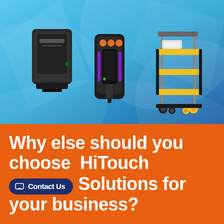[Figure (photo): Blue gradient background with swoosh design, showing three products: a black wall-mounted soap/paper dispenser on the left, a black handheld device with orange and purple accents in the center, and a yellow and black utility/janitorial cart on the right.]
Why else should you choose  HiTouch  Office Solutions for your business?
Contact Us